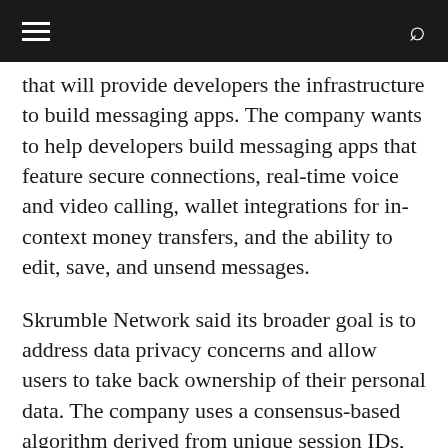≡  🔍
that will provide developers the infrastructure to build messaging apps. The company wants to help developers build messaging apps that feature secure connections, real-time voice and video calling, wallet integrations for in-context money transfers, and the ability to edit, save, and unsend messages.
Skrumble Network said its broader goal is to address data privacy concerns and allow users to take back ownership of their personal data. The company uses a consensus-based algorithm derived from unique session IDs, which enable private peer-to-peer connections.